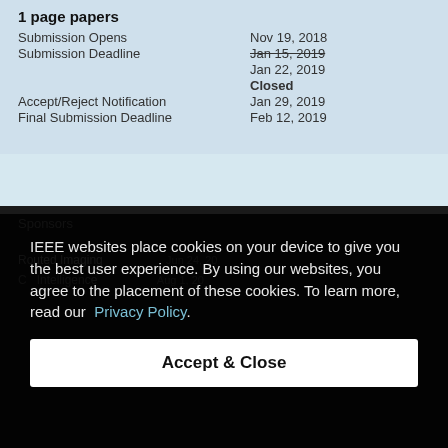1 page papers
Submission Opens   Nov 19, 2018
Submission Deadline   Jan 15, 2019 (strikethrough)   Jan 22, 2019   Closed
Accept/Reject Notification   Jan 29, 2019
Final Submission Deadline   Feb 12, 2019
IEEE websites place cookies on your device to give you the best user experience. By using our websites, you agree to the placement of these cookies. To learn more, read our Privacy Policy.
Accept & Close